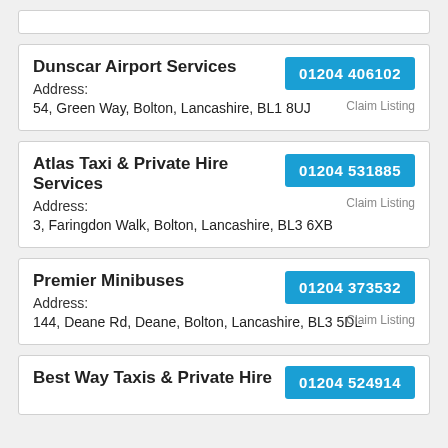(partial card top)
Dunscar Airport Services
01204 406102
Claim Listing
Address:
54, Green Way, Bolton, Lancashire, BL1 8UJ
Atlas Taxi & Private Hire Services
01204 531885
Claim Listing
Address:
3, Faringdon Walk, Bolton, Lancashire, BL3 6XB
Premier Minibuses
01204 373532
Claim Listing
Address:
144, Deane Rd, Deane, Bolton, Lancashire, BL3 5DL
Best Way Taxis & Private Hire
01204 524914